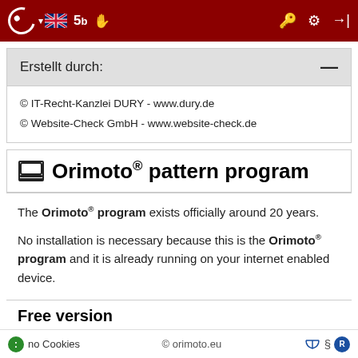Orimoto pattern program – navigation bar with logo, UK flag, icons
Erstellt durch: —
© IT-Recht-Kanzlei DURY - www.dury.de
© Website-Check GmbH - www.website-check.de
Orimoto® pattern program
The Orimoto® program exists officially around 20 years.
No installation is necessary because this is the Orimoto® program and it is already running on your internet enabled device.
Free version
The free version of the Orimoto® program is free of charge so you can test the Orimoto® program first and see if you enjoy folding books. You may sell and display your folded books but
no Cookies    © orimoto.eu